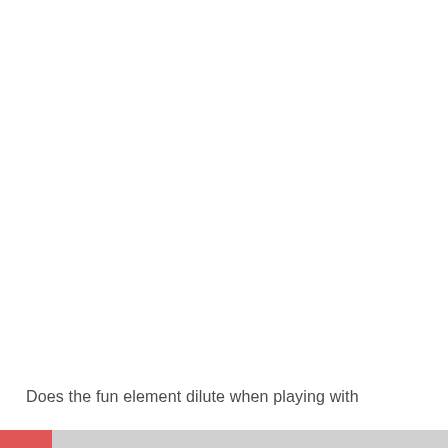Does the fun element dilute when playing with